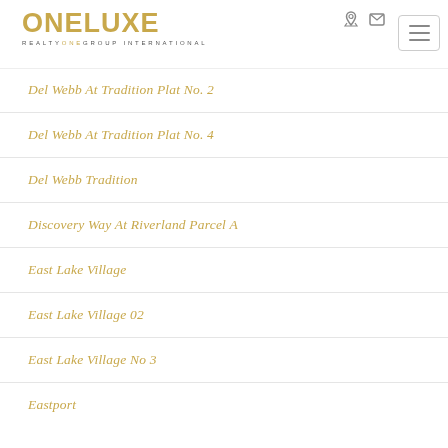ONELUXE REALTY ONE GROUP INTERNATIONAL
Del Webb At Tradition Plat No. 2
Del Webb At Tradition Plat No. 4
Del Webb Tradition
Discovery Way At Riverland Parcel A
East Lake Village
East Lake Village 02
East Lake Village No 3
Eastport